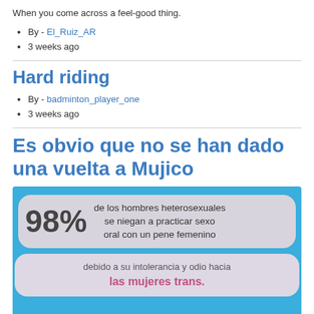When you come across a feel-good thing.
By - El_Ruiz_AR
3 weeks ago
Hard riding
By - badminton_player_one
3 weeks ago
Es obvio que no se han dado una vuelta a Mujico
[Figure (infographic): Infographic on blue background with two speech bubbles. Top bubble: '98% de los hombres heterosexuales se niegan a practicar sexo oral con un pene femenino'. Bottom bubble: 'debido a su intolerancia y odio hacia las mujeres trans.']